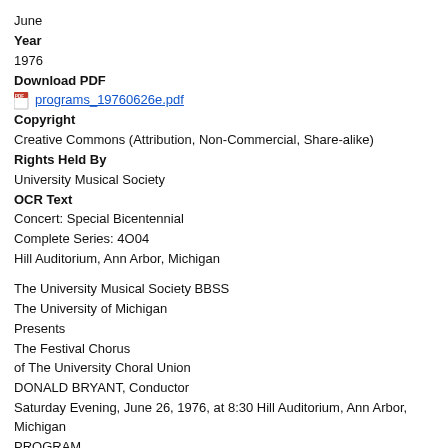June
Year
1976
Download PDF
programs_19760626e.pdf
Copyright
Creative Commons (Attribution, Non-Commercial, Share-alike)
Rights Held By
University Musical Society
OCR Text
Concert: Special Bicentennial
Complete Series: 4O04
Hill Auditorium, Ann Arbor, Michigan
The University Musical Society BBSS
The University of Michigan
Presents
The Festival Chorus
of The University Choral Union
DONALD BRYANT, Conductor
Saturday Evening, June 26, 1976, at 8:30 Hill Auditorium, Ann Arbor, Michigan
PROGRAM
"God of our Fathers, whose Almighty Hand"    George William